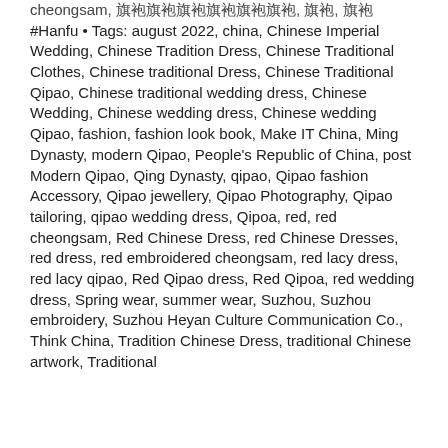cheongsam, 旗袍旗袍旗袍旗袍旗袍旗袍, 旗袍, 旗袍
#Hanfu • Tags: august 2022, china, Chinese Imperial Wedding, Chinese Tradition Dress, Chinese Traditional Clothes, Chinese traditional Dress, Chinese Traditional Qipao, Chinese traditional wedding dress, Chinese Wedding, Chinese wedding dress, Chinese wedding Qipao, fashion, fashion look book, Make IT China, Ming Dynasty, modern Qipao, People's Republic of China, post Modern Qipao, Qing Dynasty, qipao, Qipao fashion Accessory, Qipao jewellery, Qipao Photography, Qipao tailoring, qipao wedding dress, Qipoa, red, red cheongsam, Red Chinese Dress, red Chinese Dresses, red dress, red embroidered cheongsam, red lacy dress, red lacy qipao, Red Qipao dress, Red Qipoa, red wedding dress, Spring wear, summer wear, Suzhou, Suzhou embroidery, Suzhou Heyan Culture Communication Co., Think China, Tradition Chinese Dress, traditional Chinese artwork, Traditional